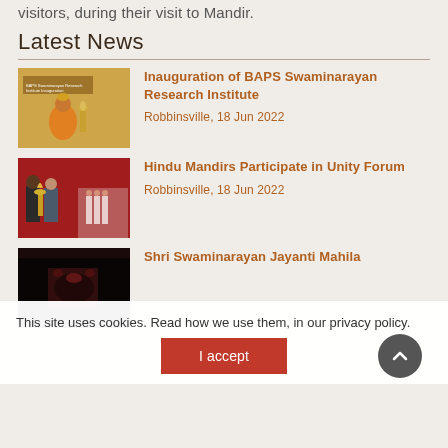visitors, during their visit to Mandir.
Latest News
[Figure (photo): Photo of a swami in orange robes seated, with ceremonial items, at BAPS Swaminarayan Research Institute inauguration]
Inauguration of BAPS Swaminarayan Research Institute
Robbinsville, 18 Jun 2022
[Figure (photo): Photo of two men lighting a ceremonial lamp at Hindu Mandirs Unity Forum event]
Hindu Mandirs Participate in Unity Forum
Robbinsville, 18 Jun 2022
[Figure (photo): Partially visible photo for Shri Swaminarayan Jayanti Mahila news item]
Shri Swaminarayan Jayanti Mahila
This site uses cookies. Read how we use them, in our privacy policy.
I accept